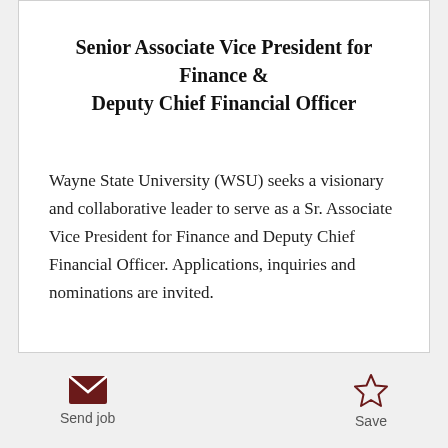Senior Associate Vice President for Finance & Deputy Chief Financial Officer
Wayne State University (WSU) seeks a visionary and collaborative leader to serve as a Sr. Associate Vice President for Finance and Deputy Chief Financial Officer. Applications, inquiries and nominations are invited.
Send job | Save